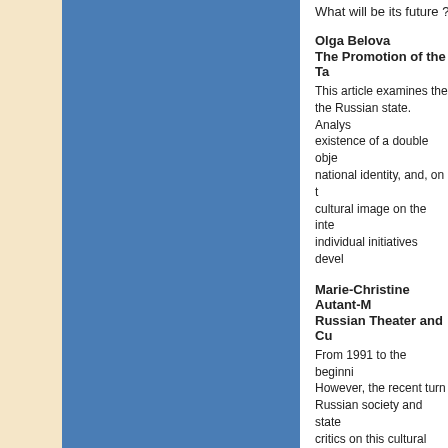What will be its future ?
Olga Belova
The Promotion of the Ta...
This article examines the... the Russian state. Analys... existence of a double obje... national identity, and, on t... cultural image on the inte... individual initiatives devel...
Marie-Christine Autant-M...
Russian Theater and Cu...
From 1991 to the beginni... However, the recent turn ... Russian society and state... critics on this cultural heri... questioned and mixed wit... instance, the famous artis... To shed light on these iss... Iouhananov, director of th...
Svetlana Gorshenina
Between Manipulation o...
Turkestan Photographs...
The paper analyzes the p... several Facebookgroups ... visual image of Tashkent, ... of visual documents, stro...